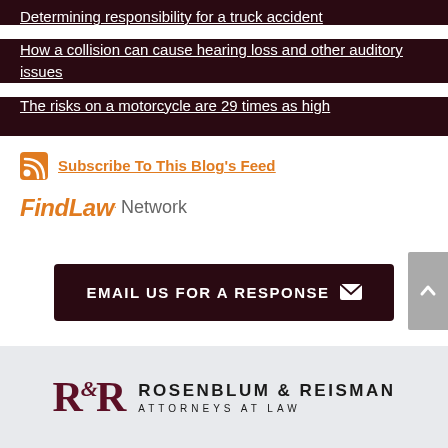Determining responsibility for a truck accident
How a collision can cause hearing loss and other auditory issues
The risks on a motorcycle are 29 times as high
Subscribe To This Blog's Feed
FindLaw. Network
EMAIL US FOR A RESPONSE
[Figure (logo): Rosenblum & Reisman Attorneys at Law logo with R&R monogram in dark red and firm name in dark text]